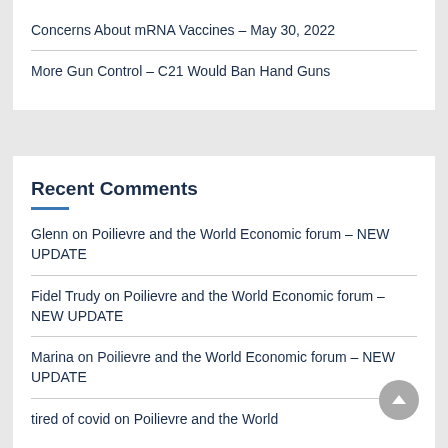Concerns About mRNA Vaccines – May 30, 2022
More Gun Control – C21 Would Ban Hand Guns
Recent Comments
Glenn on Poilievre and the World Economic forum – NEW UPDATE
Fidel Trudy on Poilievre and the World Economic forum – NEW UPDATE
Marina on Poilievre and the World Economic forum – NEW UPDATE
tired of covid on Poilievre and the World